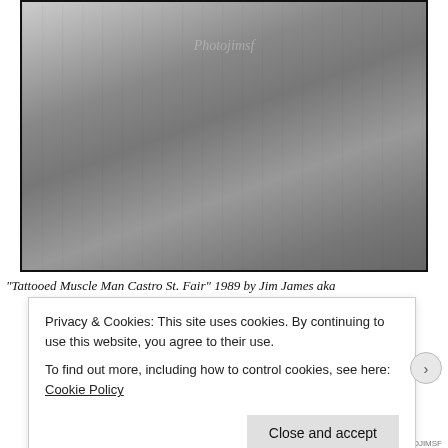[Figure (photo): Black and white photograph of a tattooed muscular man from torso down, wearing shiny spandex pants and a belt, with a watermark reading 'Photojimsf']
"Tattooed Muscle Man Castro St. Fair" 1989 by Jim James aka
Privacy & Cookies: This site uses cookies. By continuing to use this website, you agree to their use.
To find out more, including how to control cookies, see here: Cookie Policy
Close and accept